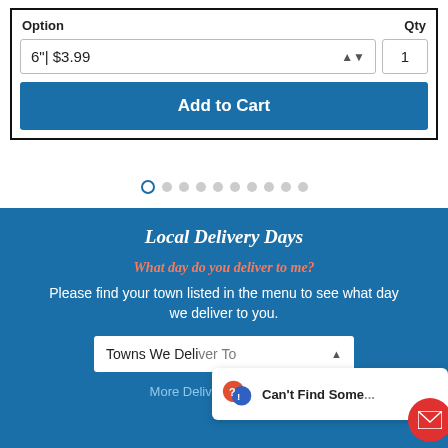| Option | Qty |
| --- | --- |
| 6"| $3.99 | 1 |
Add to Cart
[Figure (other): Pagination dots: first dot is active (outlined circle), followed by 9 filled grey dots]
Local Delivery Days
What day do you deliver to me?
Please find your town listed in the menu to see what day we deliver to you.
Towns We Deliver To
More Delivery Information
Can't Find Some...